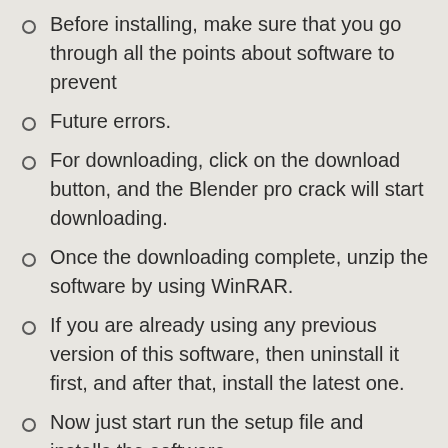Before installing, make sure that you go through all the points about software to prevent
Future errors.
For downloading, click on the download button, and the Blender pro crack will start downloading.
Once the downloading complete, unzip the software by using WinRAR.
If you are already using any previous version of this software, then uninstall it first, and after that, install the latest one.
Now just start run the setup file and installs the software.
After installation, insert the keys into the software or replace the crack file with the